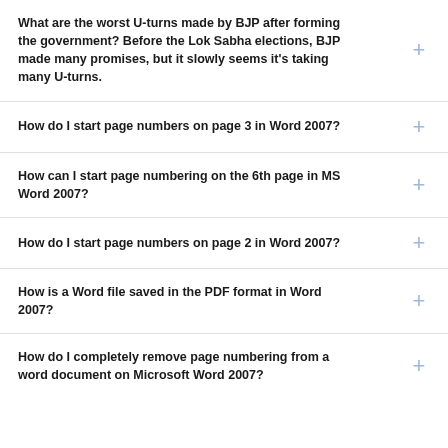What are the worst U-turns made by BJP after forming the government? Before the Lok Sabha elections, BJP made many promises, but it slowly seems it's taking many U-turns.
How do I start page numbers on page 3 in Word 2007?
How can I start page numbering on the 6th page in MS Word 2007?
How do I start page numbers on page 2 in Word 2007?
How is a Word file saved in the PDF format in Word 2007?
How do I completely remove page numbering from a word document on Microsoft Word 2007?